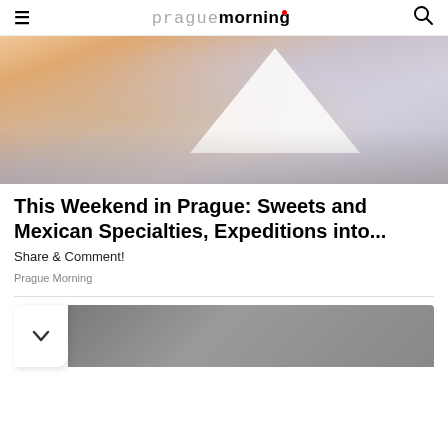prague morning
[Figure (photo): Outdoor market or festival scene with white tent, crowd of people, colorful banners and stalls]
This Weekend in Prague: Sweets and Mexican Specialties, Expeditions into...
Share & Comment!
Prague Morning
[Figure (photo): Partial view of a second article image, dark/grey toned, with a dropdown chevron button on the left side]